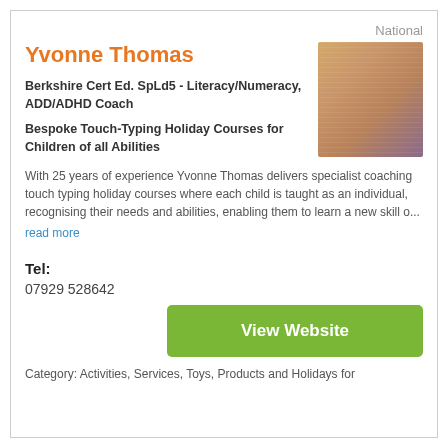National
Yvonne Thomas
Berkshire Cert Ed. SpLd5 - Literacy/Numeracy, ADD/ADHD Coach
Bespoke Touch-Typing Holiday Courses for Children of all Abilities
[Figure (photo): Portrait photo of Yvonne Thomas, a woman with blonde hair]
With 25 years of experience Yvonne Thomas delivers specialist coaching touch typing holiday courses where each child is taught as an individual, recognising their needs and abilities, enabling them to learn a new skill o...
read more
Tel:
07929 528642
View Website
Category: Activities, Services, Toys, Products and Holidays for